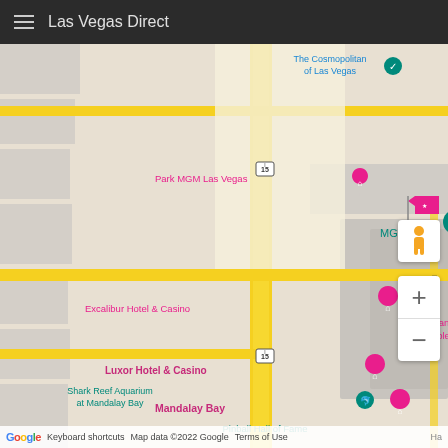Las Vegas Direct
[Figure (map): Google Maps screenshot showing the Las Vegas Strip area with hotel pins and labels including The Cosmopolitan of Las Vegas, Planet Hollywood Las Vegas Resort & Casino, Park MGM Las Vegas, MGM Grand (selected/flagged), Excalibur Hotel & Casino, Tropicana Las Vegas - A DoubleTree by Hilton, Luxor Hotel & Casino, Mandalay Bay, Shark Reef Aquarium at Mandalay Bay, Pinball Hall of Fame. Map shows S Las Vegas Blvd, Giles St, I-15 highway, and Route 593. Map controls include pegman and zoom +/- buttons.]
Google  Keyboard shortcuts  Map data ©2022 Google  Terms of Use